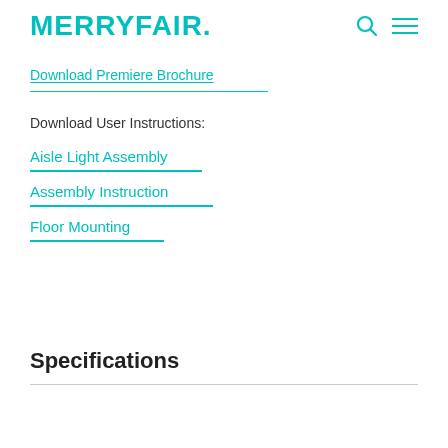MERRYFAIR.
Download Premiere Brochure
Download User Instructions:
Aisle Light Assembly
Assembly Instruction
Floor Mounting
Specifications